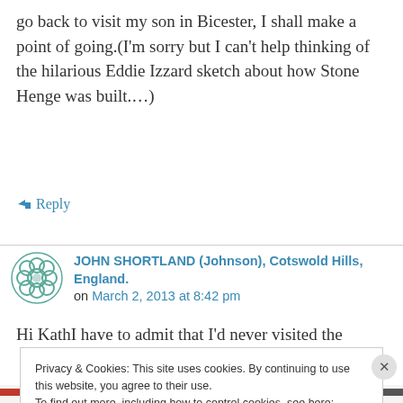go back to visit my son in Bicester, I shall make a point of going.(I'm sorry but I can't help thinking of the hilarious Eddie Izzard sketch about how Stone Henge was built.…)
↳ Reply
JOHN SHORTLAND (Johnson), Cotswold Hills, England. on March 2, 2013 at 8:42 pm
Hi KathI have to admit that I'd never visited the
Privacy & Cookies: This site uses cookies. By continuing to use this website, you agree to their use.
To find out more, including how to control cookies, see here: Cookie Policy
Close and accept